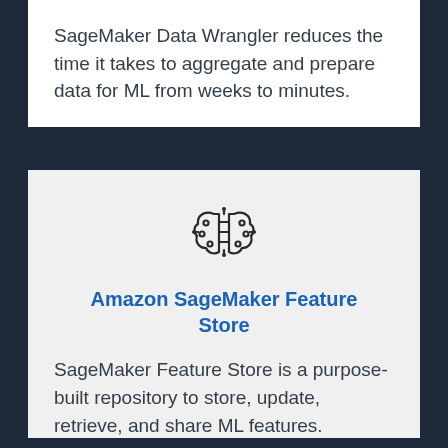SageMaker Data Wrangler reduces the time it takes to aggregate and prepare data for ML from weeks to minutes.
[Figure (illustration): An icon depicting a brain-like neural network symbol with connected nodes, outlined in dark color, representing AI/ML feature engineering.]
Amazon SageMaker Feature Store
SageMaker Feature Store is a purpose-built repository to store, update, retrieve, and share ML features.